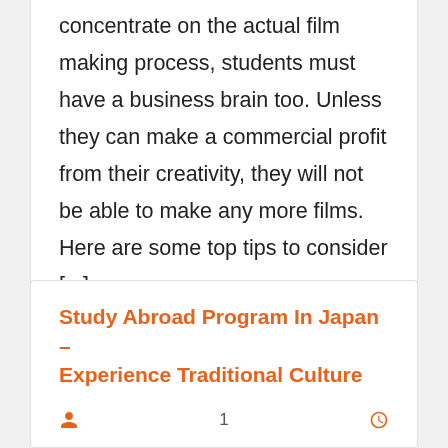concentrate on the actual film making process, students must have a business brain too. Unless they can make a commercial profit from their creativity, they will not be able to make any more films. Here are some top tips to consider [...]
Study Abroad Program In Japan – Experience Traditional Culture
1